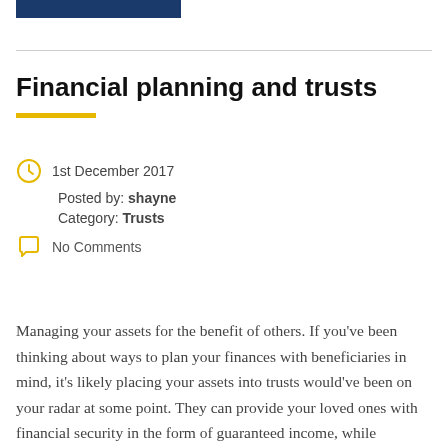Financial planning and trusts
1st December 2017
Posted by: shayne
Category: Trusts
No Comments
Managing your assets for the benefit of others. If you've been thinking about ways to plan your finances with beneficiaries in mind, it's likely placing your assets into trusts would've been on your radar at some point. They can provide your loved ones with financial security in the form of guaranteed income, while protecting your